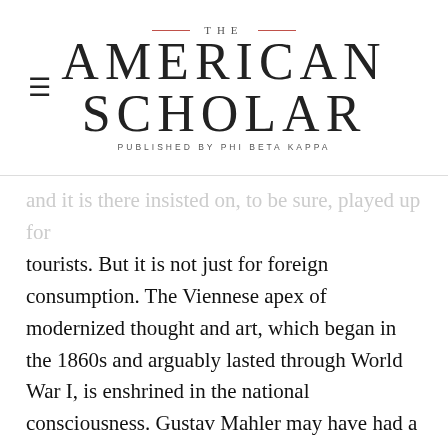THE AMERICAN SCHOLAR — PUBLISHED BY PHI BETA KAPPA
tourists. But it is not just for foreign consumption. The Viennese apex of modernized thought and art, which began in the 1860s and arguably lasted through World War I, is enshrined in the national consciousness. Gustav Mahler may have had a stormy tenure as the general director and conductor of Vienna's Imperial Opera (he was forced out in 1907 after a decade), but last summer the Wiener Staatsoper schedule was a virtual homage to the composer. The Museum Quarter, which holds the majority of the city's Egon Schiele